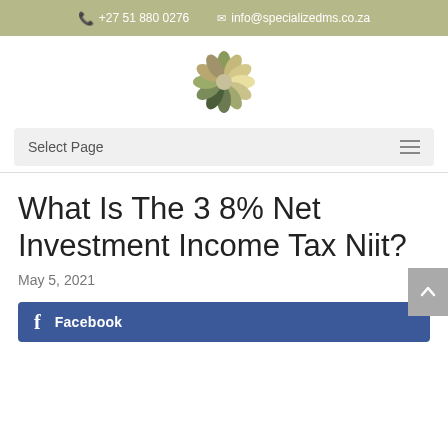+27 51 880 0276  info@specializedms.co.za
[Figure (logo): Circular logo made of overlapping leaf/petal shapes in olive, sage, tan, and dark green colors]
Select Page
What Is The 3 8% Net Investment Income Tax Niit?
May 5, 2021
Facebook